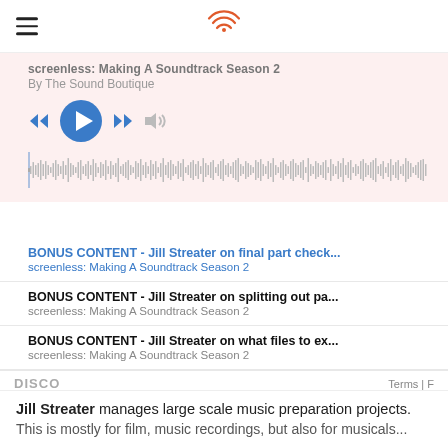screenless: Making A Soundtrack Season 2 | By The Sound Boutique
[Figure (screenshot): Podcast player UI with play/pause, rewind, fast-forward and volume controls, and an audio waveform scrubber]
BONUS CONTENT - Jill Streater on final part check... | screenless: Making A Soundtrack Season 2
BONUS CONTENT - Jill Streater on splitting out pa... | screenless: Making A Soundtrack Season 2
BONUS CONTENT - Jill Streater on what files to ex... | screenless: Making A Soundtrack Season 2
DISCO   Terms | F
Jill Streater manages large scale music preparation projects. This is mostly for film, music recordings, but also for musicals...